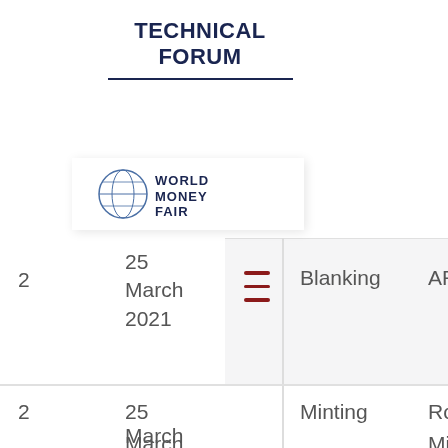TECHNICAL FORUM
[Figure (logo): World Money Fair globe logo with text WORLD MONEY FAIR]
| # | Date |  | Topic | Speaker |
| --- | --- | --- | --- | --- |
| 2 | 25 March 2021 | ≡ | Blanking | AR… |
| 2 | 25 March |  | Minting | Ro… |